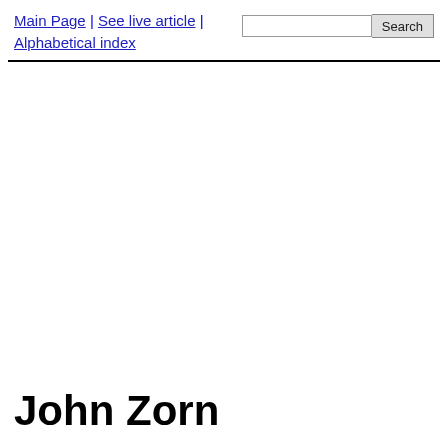Main Page | See live article | Alphabetical index
John Zorn